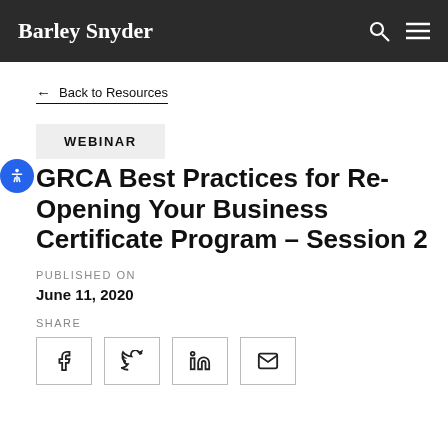Barley Snyder
← Back to Resources
WEBINAR
GRCA Best Practices for Re-Opening Your Business Certificate Program – Session 2
PUBLISHED ON
June 11, 2020
SHARE